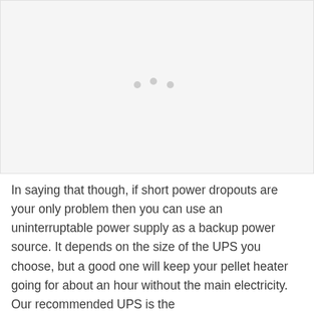[Figure (photo): Image placeholder area, appears mostly blank/light grey, possibly a photo of a pellet heater or UPS device that did not render fully.]
In saying that though, if short power dropouts are your only problem then you can use an uninterruptable power supply as a backup power source. It depends on the size of the UPS you choose, but a good one will keep your pellet heater going for about an hour without the main electricity. Our recommended UPS is the